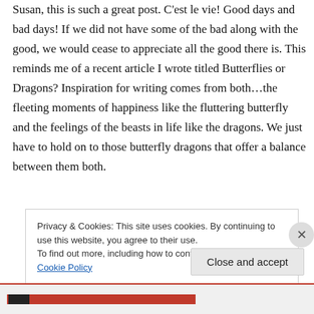Susan, this is such a great post. C'est le vie! Good days and bad days! If we did not have some of the bad along with the good, we would cease to appreciate all the good there is. This reminds me of a recent article I wrote titled Butterflies or Dragons? Inspiration for writing comes from both…the fleeting moments of happiness like the fluttering butterfly and the feelings of the beasts in life like the dragons. We just have to hold on to those butterfly dragons that offer a balance between them both.
Privacy & Cookies: This site uses cookies. By continuing to use this website, you agree to their use. To find out more, including how to control cookies, see here: Cookie Policy